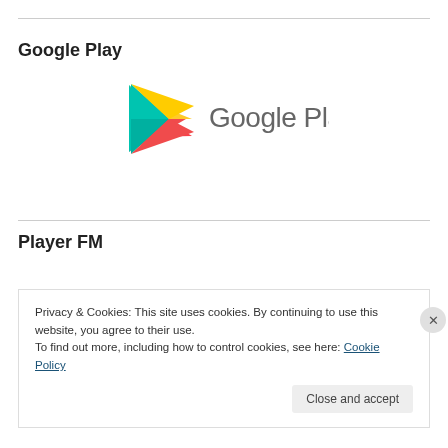Google Play
[Figure (logo): Google Play logo with triangular play icon in green, yellow, red and teal colors, followed by 'Google Play' text in grey]
Player FM
Privacy & Cookies: This site uses cookies. By continuing to use this website, you agree to their use.
To find out more, including how to control cookies, see here: Cookie Policy
Close and accept